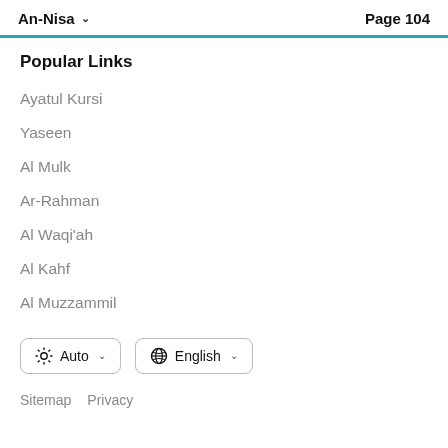An-Nisa ∨   Page 104
Popular Links
Ayatul Kursi
Yaseen
Al Mulk
Ar-Rahman
Al Waqi'ah
Al Kahf
Al Muzzammil
Auto  English
Sitemap   Privacy